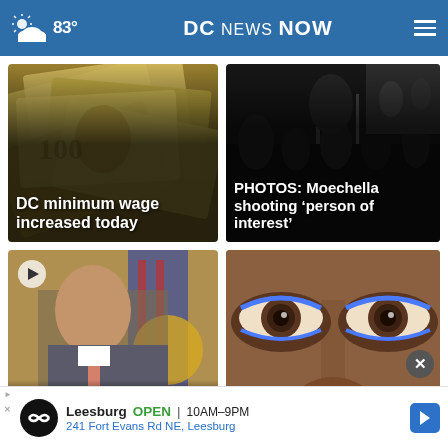83° DC NEWS NOW
[Figure (photo): Close-up of US dollar bills fanned out, with headline overlay: DC minimum wage increased today]
DC minimum wage increased today
[Figure (photo): Dark photo of people at event with headline overlay: PHOTOS: Moechella shooting 'person of interest']
PHOTOS: Moechella shooting 'person of interest'
[Figure (photo): Man in suit speaking at press conference with American flag, video play button visible, partial headline: Gov...]
[Figure (photo): Close-up of a person's eyes with blue eyeliner makeup, partial text visible at bottom: ...tion]
Leesburg OPEN 10AM–9PM 241 Fort Evans Rd NE, Leesburg